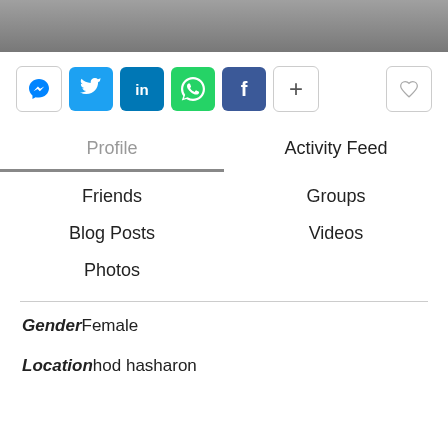[Figure (screenshot): Gray top bar area of a web page]
[Figure (infographic): Row of social sharing buttons: Messenger, Twitter, LinkedIn, WhatsApp, Facebook, Plus, and a heart/favorite button on the right]
Profile
Activity Feed
Friends
Groups
Blog Posts
Videos
Photos
GenderFemale
Locationhod hasharon